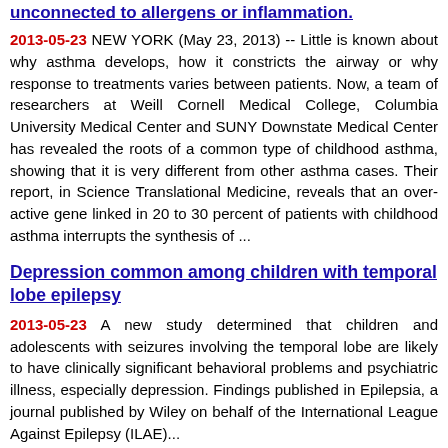unconnected to allergens or inflammation.
2013-05-23 NEW YORK (May 23, 2013) -- Little is known about why asthma develops, how it constricts the airway or why response to treatments varies between patients. Now, a team of researchers at Weill Cornell Medical College, Columbia University Medical Center and SUNY Downstate Medical Center has revealed the roots of a common type of childhood asthma, showing that it is very different from other asthma cases. Their report, in Science Translational Medicine, reveals that an over-active gene linked in 20 to 30 percent of patients with childhood asthma interrupts the synthesis of ...
Depression common among children with temporal lobe epilepsy
2013-05-23 A new study determined that children and adolescents with seizures involving the temporal lobe are likely to have clinically significant behavioral problems and psychiatric illness, especially depression. Findings published in Epilepsia, a journal published by Wiley on behalf of the International League Against Epilepsy (ILAE)...